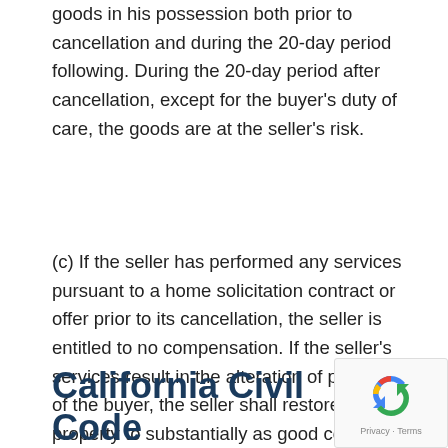goods in his possession both prior to cancellation and during the 20-day period following. During the 20-day period after cancellation, except for the buyer's duty of care, the goods are at the seller's risk.
(c) If the seller has performed any services pursuant to a home solicitation contract or offer prior to its cancellation, the seller is entitled to no compensation. If the seller's services result in the alteration of property of the buyer, the seller shall restore the property to substantially as good condition as it was at the time the services were rendered.
California Civil Code